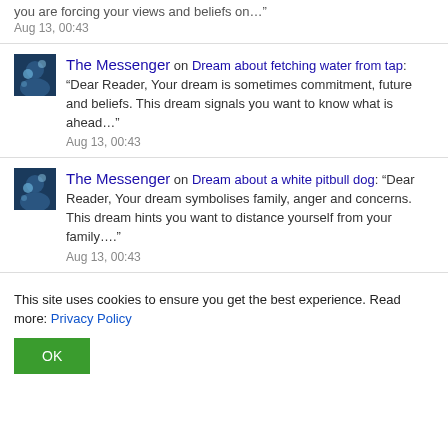you are forcing your views and beliefs on…” Aug 13, 00:43
The Messenger on Dream about fetching water from tap: “Dear Reader, Your dream is sometimes commitment, future and beliefs. This dream signals you want to know what is ahead…” Aug 13, 00:43
The Messenger on Dream about a white pitbull dog: “Dear Reader, Your dream symbolises family, anger and concerns. This dream hints you want to distance yourself from your family….” Aug 13, 00:43
This site uses cookies to ensure you get the best experience. Read more: Privacy Policy OK